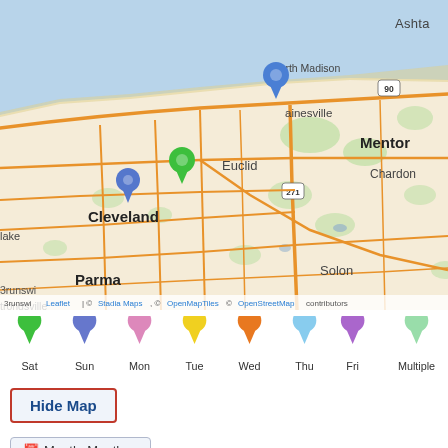[Figure (map): Interactive Leaflet map showing northeast Ohio area including Cleveland, Mentor, Euclid, Parma, Chardon, Solon, Mesopotamia, Southington, North Madison, Rome, Windsor areas. Blue and green map marker pins visible near Cleveland and Mentor/Painesville area. Road network in orange/tan, water (Lake Erie) in blue, green areas for vegetation. Attribution: Leaflet | © Stadia Maps, © OpenMapTiles © OpenStreetMap contributors.]
[Figure (infographic): Map legend showing colored teardrop pins for each day of the week: Sat (green), Sun (blue/purple), Mon (pink), Tue (yellow), Wed (orange), Thu (light blue), Fri (purple), Multiple (light green)]
Sat  Sun  Mon  Tue  Wed  Thu  Fri  Multiple
Hide Map
Month: Month